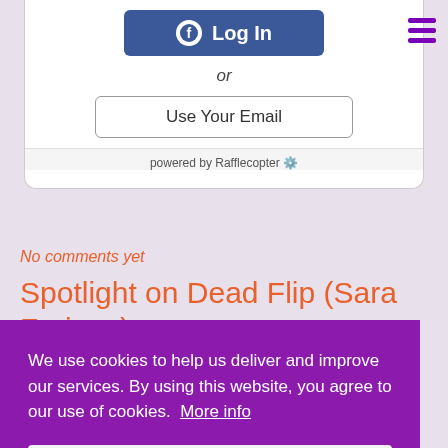[Figure (screenshot): Facebook Log In button (blue with Facebook icon)]
or
[Figure (screenshot): Use Your Email button (outlined)]
powered by Rafflecopter
No comments yet
Spotlight on Dead Flip (Sara Farizan),
We use cookies to help us deliver and improve our services. By using this website, you agree to our use of cookies. More info
[Figure (screenshot): I agree! button (white/light gray)]